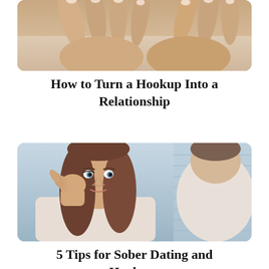[Figure (photo): Close-up photo of hands, cropped at top of page]
How to Turn a Hookup Into a Relationship
[Figure (photo): Woman with long brown hair resting hand on face, looking at a man seated across from her]
5 Tips for Sober Dating and Hookups